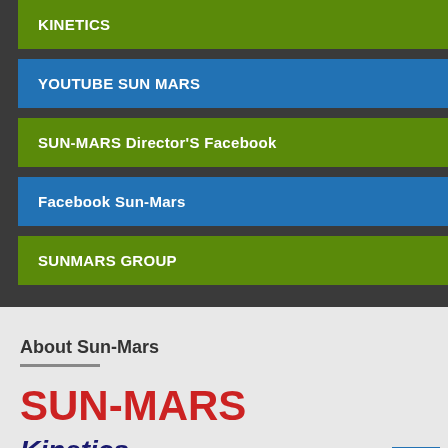KINETICS
YOUTUBE SUN MARS
SUN-MARS Director'S Facebook
Facebook Sun-Mars
SUNMARS GROUP
About Sun-Mars
[Figure (logo): SUN-MARS logo text in bold red letters]
[Figure (logo): Kinetics logo in dark blue italic bold letters with red underline]